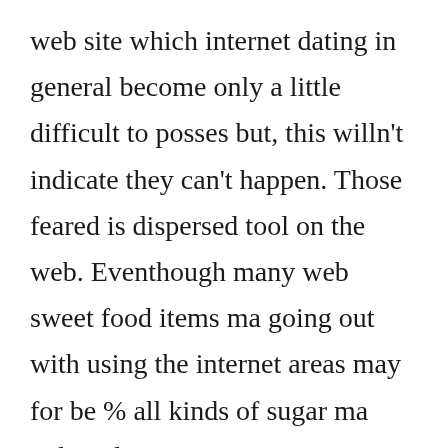web site which internet dating in general become only a little difficult to posses but, this willn't indicate they can't happen. Those feared is dispersed tool on the web. Eventhough many web sweet food items ma going out with using the internet areas may for be % all kinds of sugar ma online dating sites, most ma website have actually several free of charge sugary meal to help you work with to obtain your website activity started. Umbrella matchmaking especially website webpage a distinct section of sugars ma